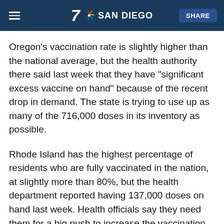7 SAN DIEGO | SHARE
Oregon's vaccination rate is slightly higher than the national average, but the health authority there said last week that they have “significant excess vaccine on hand” because of the recent drop in demand. The state is trying to use up as many of the 716,000 doses in its inventory as possible.
Rhode Island has the highest percentage of residents who are fully vaccinated in the nation, at slightly more than 80%, but the health department reported having 137,000 doses on hand last week. Health officials say they need them for a big push to increase the vaccination rate for booster doses.
Health officials in some states have developed “matchmaker” programs to connect vaccine providers with